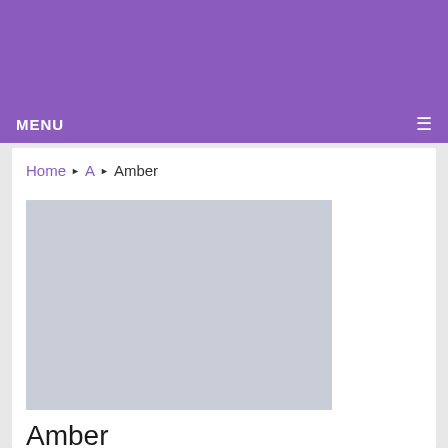MENU ☰
Home ▶ A ▶ Amber
[Figure (photo): Product image placeholder — light grey rectangle]
Amber